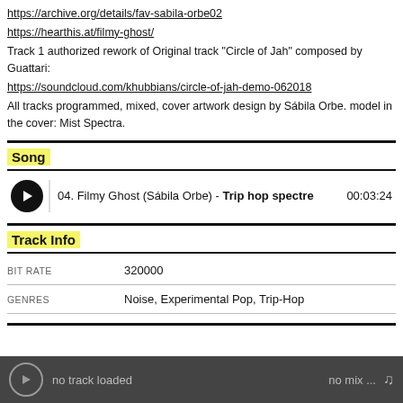https://archive.org/details/fav-sabila-orbe02
https://hearthis.at/filmy-ghost/
Track 1 authorized rework of Original track "Circle of Jah" composed by Guattari:
https://soundcloud.com/khubbians/circle-of-jah-demo-062018
All tracks programmed, mixed, cover artwork design by Sábila Orbe. model in the cover: Mist Spectra.
Song
04. Filmy Ghost (Sábila Orbe) - Trip hop spectre 00:03:24
Track Info
|  |  |
| --- | --- |
| BIT RATE | 320000 |
| GENRES | Noise, Experimental Pop, Trip-Hop |
no track loaded    no mix ...